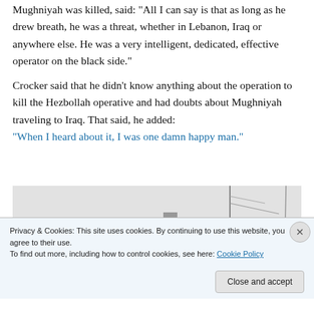Mughniyah was killed, said: "All I can say is that as long as he drew breath, he was a threat, whether in Lebanon, Iraq or anywhere else. He was a very intelligent, dedicated, effective operator on the black side."
Crocker said that he didn't know anything about the operation to kill the Hezbollah operative and had doubts about Mughniyah traveling to Iraq. That said, he added: “When I heard about it, I was one damn happy man.”
[Figure (photo): Black and white photograph showing what appears to be a ship or military vessel in misty/foggy conditions, partially visible.]
Privacy & Cookies: This site uses cookies. By continuing to use this website, you agree to their use.
To find out more, including how to control cookies, see here: Cookie Policy